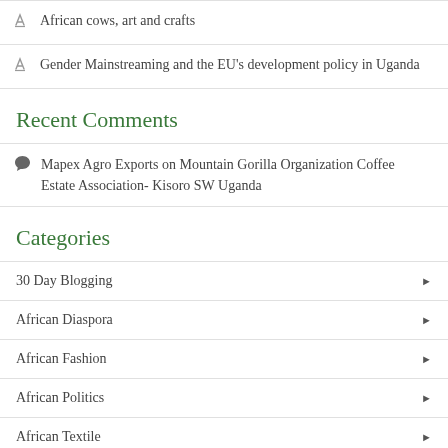African cows, art and crafts
Gender Mainstreaming and the EU's development policy in Uganda
Recent Comments
Mapex Agro Exports on Mountain Gorilla Organization Coffee Estate Association- Kisoro SW Uganda
Categories
30 Day Blogging
African Diaspora
African Fashion
African Politics
African Textile